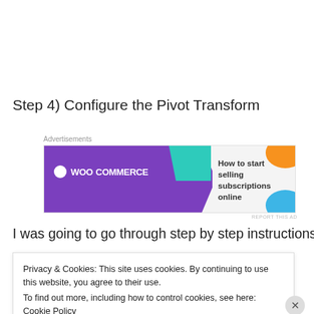Step 4) Configure the Pivot Transform
[Figure (other): WooCommerce advertisement banner: purple background with WooCommerce logo and text 'How to start selling subscriptions online', with teal arrow, orange blob and blue blob decoration.]
I was going to go through step by step instructions on
Privacy & Cookies: This site uses cookies. By continuing to use this website, you agree to their use.
To find out more, including how to control cookies, see here: Cookie Policy
Close and accept